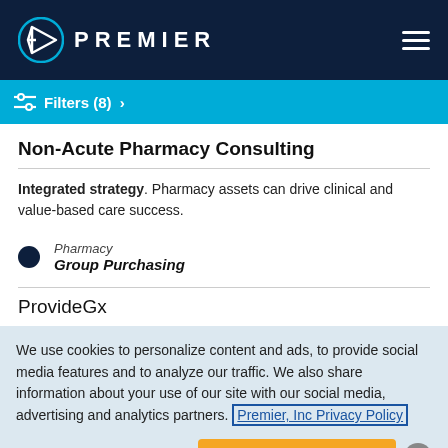PREMIER
Filters (8) >
Non-Acute Pharmacy Consulting
Integrated strategy. Pharmacy assets can drive clinical and value-based care success.
Pharmacy / Group Purchasing
ProvideGx
We use cookies to personalize content and ads, to provide social media features and to analyze our traffic. We also share information about your use of our site with our social media, advertising and analytics partners. Premier, Inc Privacy Policy
OPT-OUT of COOKIES | Accept Cookies